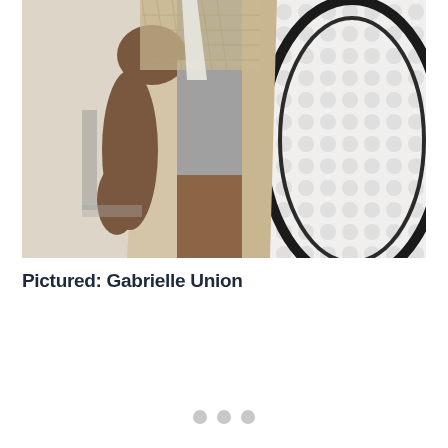[Figure (photo): A woman (Gabrielle Union) wearing a beige/khaki long sleeveless vest over a gray bodycon dress, with a crochet/mesh top underneath. She stands with one hand on her hip. To her right is a large circular wire/metal rack with white balls or pompoms. The background is a light, bright interior space.]
Pictured: Gabrielle Union